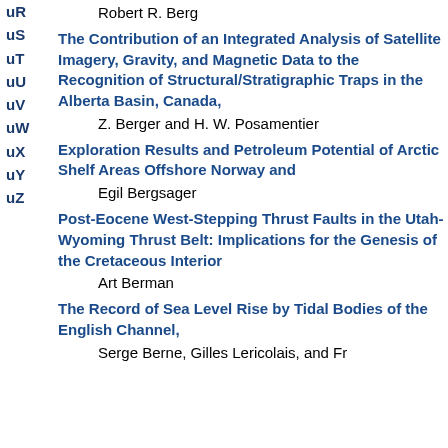uR
Robert R. Berg
uS
uT
uU
uV
uW
The Contribution of an Integrated Analysis of Satellite Imagery, Gravity, and Magnetic Data to the Recognition of Structural/Stratigraphic Traps in the Alberta Basin, Canada,
Z. Berger and H. W. Posamentier
uX
uY
Exploration Results and Petroleum Potential of Arctic Shelf Areas Offshore Norway and
Egil Bergsager
uZ
Post-Eocene West-Stepping Thrust Faults in the Utah-Wyoming Thrust Belt: Implications for the Genesis of the Cretaceous Interior
Art Berman
The Record of Sea Level Rise by Tidal Bodies of the English Channel,
Serge Berne, Gilles Lericolais, and Fr